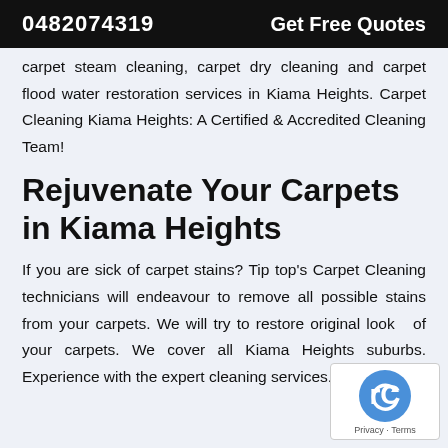0482074319   Get Free Quotes
carpet steam cleaning, carpet dry cleaning and carpet flood water restoration services in Kiama Heights. Carpet Cleaning Kiama Heights: A Certified & Accredited Cleaning Team!
Rejuvenate Your Carpets in Kiama Heights
If you are sick of carpet stains? Tip top's Carpet Cleaning technicians will endeavour to remove all possible stains from your carpets. We will try to restore original look of your carpets. We cover all Kiama Heights suburbs. Experience with the expert cleaning services.